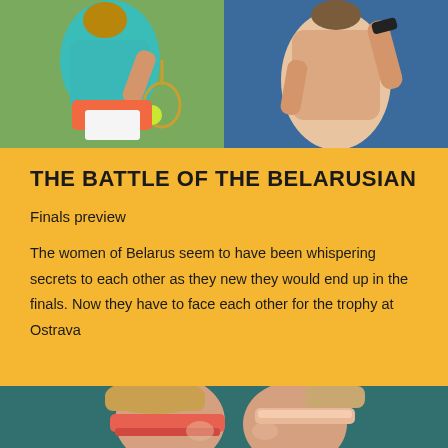[Figure (photo): Two side-by-side tennis action photos at top: left shows a player in teal top and orange-white skirt hitting a tennis ball on a green court; right shows a player in peach/nude top on a blue court background]
THE BATTLE OF THE BELARUSIAN
Finals preview
The women of Belarus seem to have been whispering secrets to each other as they new they would end up in the finals. Now they have to face each other for the trophy at Ostrava
[Figure (photo): Two Belarusian tennis players facing each other at bottom: left player wearing a coral/pink visor with braided hair, right player wearing a peach headband with ponytail, teal background]